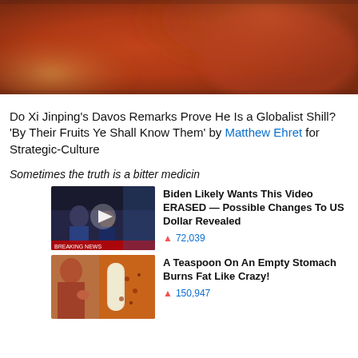[Figure (photo): Close-up photo with warm reddish-orange tones, out of focus background]
Do Xi Jinping's Davos Remarks Prove He Is a Globalist Shill? 'By Their Fruits Ye Shall Know Them' by Matthew Ehret for Strategic-Culture
Sometimes the truth is a bitter medicine... Promoted X
[Figure (photo): Promotional ad thumbnail: two men at a news desk with play button overlay]
Biden Likely Wants This Video ERASED — Possible Changes To US Dollar Revealed
🔥 72,039
[Figure (photo): Promotional ad thumbnail: person showing stomach alongside spice tube]
A Teaspoon On An Empty Stomach Burns Fat Like Crazy!
🔥 150,947